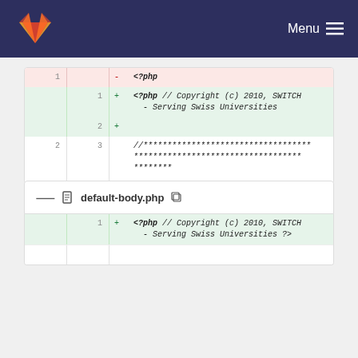Menu
[Figure (screenshot): GitLab diff view showing a PHP file comparison. Line 1 deleted: <?php. Lines 1-2 added: <?php // Copyright (c) 2010, SWITCH - Serving Swiss Universities and a blank +. Lines 2-5 show comment block and file description.]
default-body.php
[Figure (screenshot): GitLab diff view of default-body.php showing line 1 added: <?php // Copyright (c) 2010, SWITCH - Serving Swiss Universities ?>]